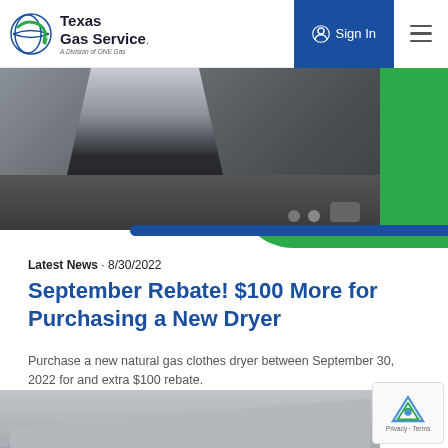Texas Gas Service - A Division of ONE Gas | Sign In
[Figure (photo): Hero image of a person in white shirt leaning over a clothes dryer, with green background and blue stripe]
Latest News • 8/30/2022
September Rebate! $100 More for Purchasing a New Dryer
Purchase a new natural gas clothes dryer between September 30, 2022 for and extra $100 rebate.
[Figure (photo): Bottom partial image of what appears to be appliances in gray tones]
[Figure (other): reCAPTCHA privacy badge in bottom right corner]